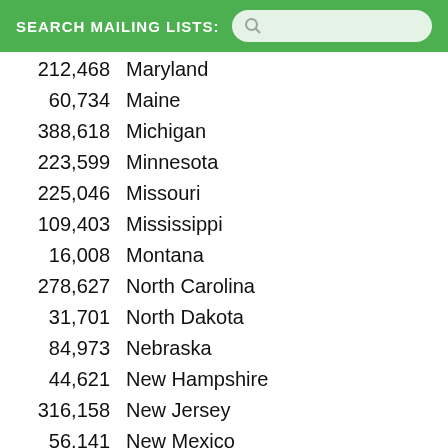SEARCH MAILING LISTS:
212,468  Maryland
60,734  Maine
388,618  Michigan
223,599  Minnesota
225,046  Missouri
109,403  Mississippi
16,008  Montana
278,627  North Carolina
31,701  North Dakota
84,973  Nebraska
44,621  New Hampshire
316,158  New Jersey
56,141  New Mexico
61,375  Nevada
363,183  New York
542,717  Ohio
136,575  Oklahoma
116,404  Oregon